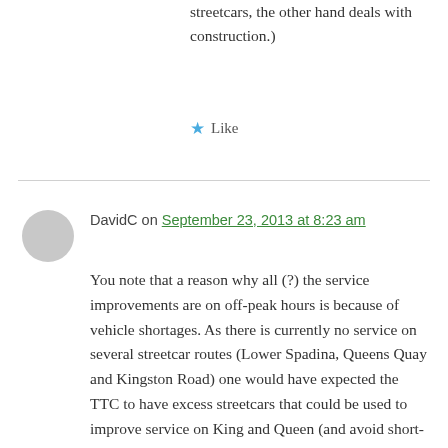streetcars, the other hand deals with construction.)
★ Like
DavidC on September 23, 2013 at 8:23 am
You note that a reason why all (?) the service improvements are on off-peak hours is because of vehicle shortages. As there is currently no service on several streetcar routes (Lower Spadina, Queens Quay and Kingston Road) one would have expected the TTC to have excess streetcars that could be used to improve service on King and Queen (and avoid short-turns). Will there be enough streetcars when these routes reopen? (As an aside, I am taking bets that